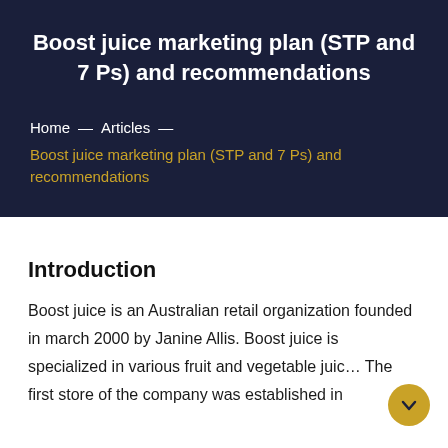Boost juice marketing plan (STP and 7 Ps) and recommendations
Home — Articles — Boost juice marketing plan (STP and 7 Ps) and recommendations
Introduction
Boost juice is an Australian retail organization founded in march 2000 by Janine Allis. Boost juice is specialized in various fruit and vegetable juic… The first store of the company was established in